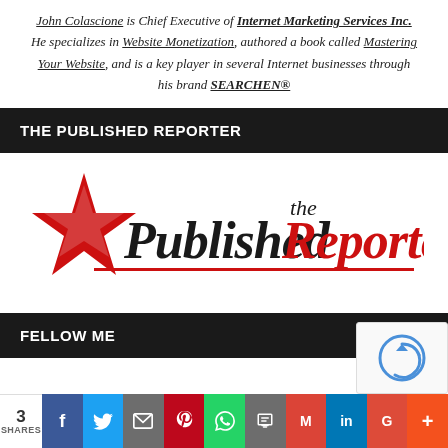John Colascione is Chief Executive of Internet Marketing Services Inc. He specializes in Website Monetization, authored a book called Mastering Your Website, and is a key player in several Internet businesses through his brand SEARCHEN®
THE PUBLISHED REPORTER
[Figure (logo): The Published Reporter logo with red star and bold italic text]
FELLOW ME